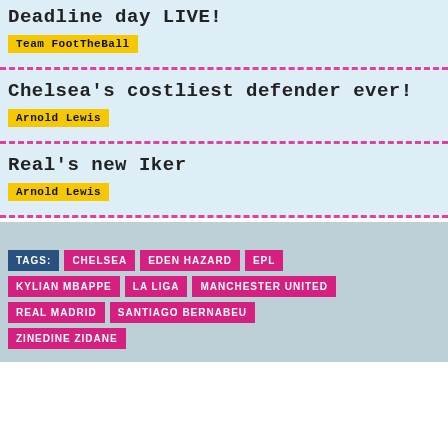Deadline day LIVE!
Team FootTheBall
Chelsea's costliest defender ever!
Arnold Lewis
Real's new Iker
Arnold Lewis
TAGS: CHELSEA EDEN HAZARD EPL KYLIAN MBAPPE LA LIGA MANCHESTER UNITED REAL MADRID SANTIAGO BERNABEU ZINEDINE ZIDANE